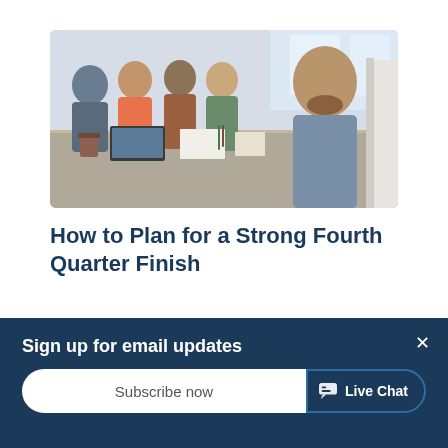[Figure (photo): Office meeting scene with diverse group of people around a table, man in foreground looking at monitor]
How to Plan for a Strong Fourth Quarter Finish
October 1, 2018 / in Business Expansion, Operations / by Wil Rivera
Sign up for email updates
Subscribe now
Live Chat